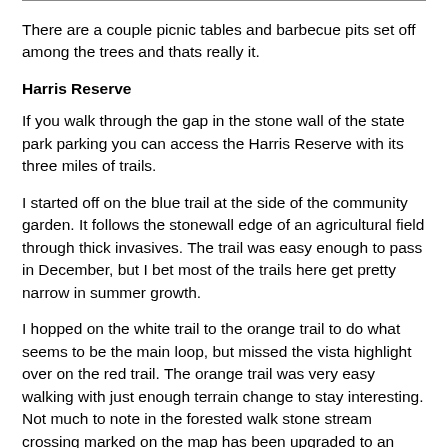There are a couple picnic tables and barbecue pits set off among the trees and thats really it.
Harris Reserve
If you walk through the gap in the stone wall of the state park parking you can access the Harris Reserve with its three miles of trails.
I started off on the blue trail at the side of the community garden.  It follows the stonewall edge of an agricultural field through thick invasives.  The trail was easy enough to pass in December, but I bet most of the trails here get pretty narrow in summer growth.
I hopped on the white trail to the orange trail to do what seems to be the main loop, but missed the vista highlight over on the red trail.  The orange trail was very easy walking with just enough terrain change to stay interesting.  Not much to note in the forested walk stone stream crossing marked on the map has been upgraded to an overbuilt bridge.  After recent heavy rains the stream had a beautiful clear shallow pool and tiny cascade